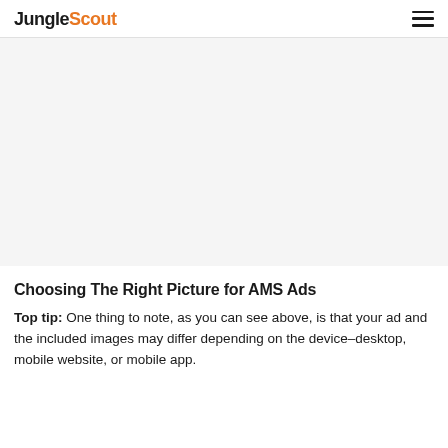JungleScout
[Figure (other): Large blank/white image area representing an ad image placeholder]
Choosing The Right Picture for AMS Ads
Top tip: One thing to note, as you can see above, is that your ad and the included images may differ depending on the device–desktop, mobile website, or mobile app.